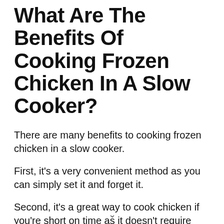What Are The Benefits Of Cooking Frozen Chicken In A Slow Cooker?
There are many benefits to cooking frozen chicken in a slow cooker.
First, it's a very convenient method as you can simply set it and forget it.
Second, it's a great way to cook chicken if you're short on time as it doesn't require any pre-cooking or defrosting.